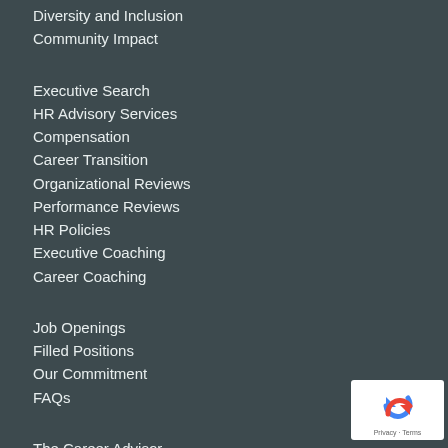Diversity and Inclusion
Community Impact
Executive Search
HR Advisory Services
Compensation
Career Transition
Organizational Reviews
Performance Reviews
HR Policies
Executive Coaching
Career Coaching
Job Openings
Filled Positions
Our Commitment
FAQs
The Career Advisor
Salary Guide
Book
[Figure (logo): reCAPTCHA badge with Privacy and Terms text]